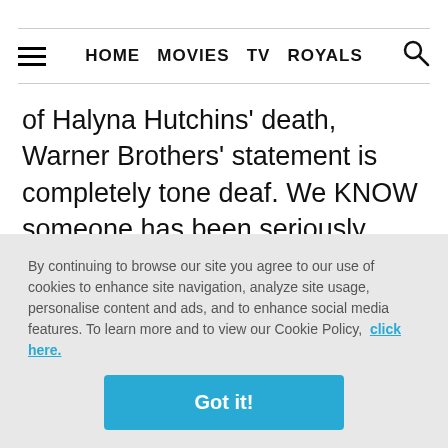HOME  MOVIES  TV  ROYALS
of Halyna Hutchins' death, Warner Brothers' statement is completely tone deaf. We KNOW someone has been seriously injured on the Batwoman set, even if you want to deflect from Rose's specific remarks, you still have to account
By continuing to browse our site you agree to our use of cookies to enhance site navigation, analyze site usage, personalise content and ads, and to enhance social media features. To learn more and to view our Cookie Policy, click here.
Got it!